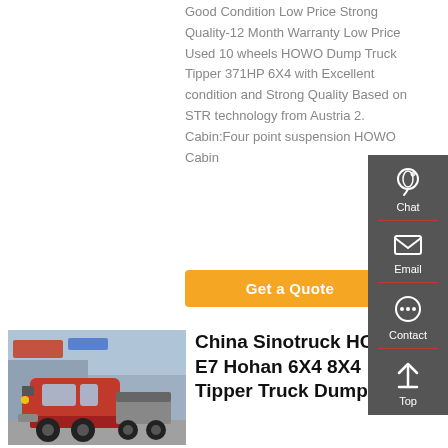Good Condition Low Price Strong Quality-12 Month Warranty Low Price Used 10 wheels HOWO Dump Truck Tipper 371HP 6X4 with Excellent condition and Strong Quality Based on STR technology from Austria 2. Cabin:Four point suspension HOWO Cabin
Get a Quote
[Figure (photo): Red Sinotruck HOWO E7 Hohan truck parked outdoors in front of a building]
China Sinotruck HOWO E7 Hohan 6X4 8X4 Tipper Truck Dump ...